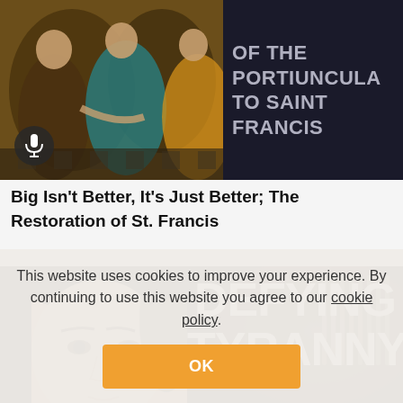[Figure (screenshot): Painting of religious figures with dark background panel showing text 'OF THE PORTIUNCULA TO SAINT FRANCIS' with a microphone icon overlay in bottom-left corner]
Big Isn't Better, It's Just Better; The Restoration of St. Francis
[Figure (photo): Thumbnail image showing a woman's face on the left half with large bold white text 'DEFYING TYRANNY' on right dark background portion]
This website uses cookies to improve your experience. By continuing to use this website you agree to our cookie policy.